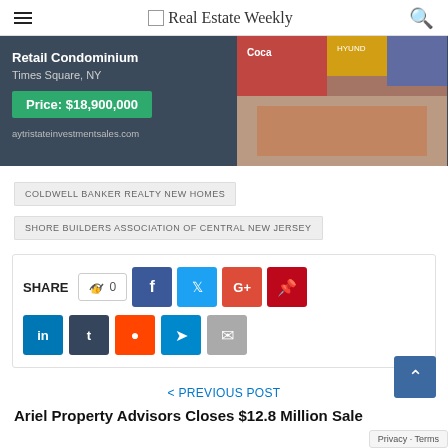Real Estate Weekly
[Figure (photo): Banner advertisement for a Retail Condominium in Times Square, NY priced at $18,900,000 from aytristateinvestmentsales.com, with aerial crowd photo of Times Square on the right.]
COLDWELL BANKER REALTY NEW HOMES
SHORE BUILDERS ASSOCIATION OF CENTRAL NEW JERSEY
SHARE 0 (social share buttons: Facebook, Twitter, Google+, Pinterest, LinkedIn, Tumblr, Reddit, Telegram, Email)
< PREVIOUS POST
Ariel Property Advisors Closes $12.8 Million Sale of Development Opportunity in the Bronx